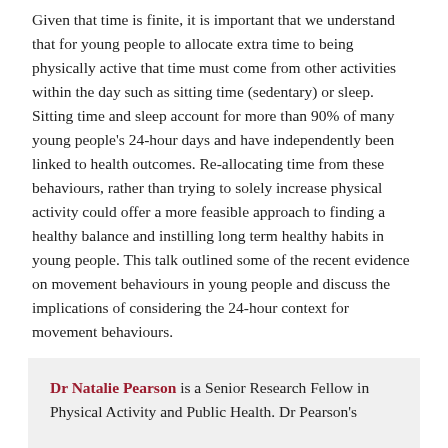Given that time is finite, it is important that we understand that for young people to allocate extra time to being physically active that time must come from other activities within the day such as sitting time (sedentary) or sleep. Sitting time and sleep account for more than 90% of many young people's 24-hour days and have independently been linked to health outcomes. Re-allocating time from these behaviours, rather than trying to solely increase physical activity could offer a more feasible approach to finding a healthy balance and instilling long term healthy habits in young people. This talk outlined some of the recent evidence on movement behaviours in young people and discuss the implications of considering the 24-hour context for movement behaviours.
Dr Natalie Pearson is a Senior Research Fellow in Physical Activity and Public Health. Dr Pearson's